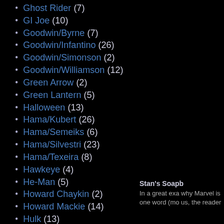Ghost Rider (7)
GI Joe (10)
Goodwin/Byrne (7)
Goodwin/Infantino (26)
Goodwin/Simonson (2)
Goodwin/Williamson (12)
Green Arrow (2)
Green Lantern (5)
Halloween (13)
Hama/Kubert (26)
Hama/Semeiks (6)
Hama/Silvestri (23)
Hama/Texeira (8)
Hawkeye (4)
He-Man (5)
Howard Chaykin (2)
Howard Mackie (14)
Hulk (13)
Ian Churchill (1)
Incredible Hulk (9)
Iron Man (12)
J.M. DeMatteis (7)
Stan's Soapb In a great exa why Marvel is one word (mo us, the reader